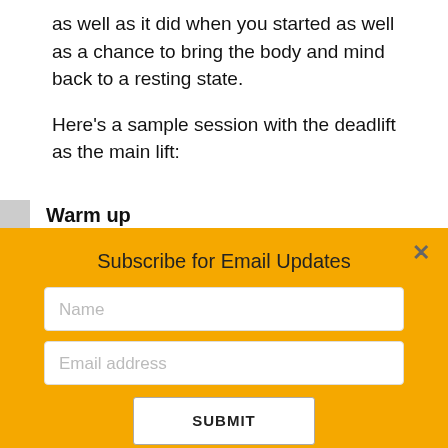as well as it did when you started as well as a chance to bring the body and mind back to a resting state.
Here's a sample session with the deadlift as the main lift:
Warm up
Subscribe for Email Updates
Name
Email address
SUBMIT